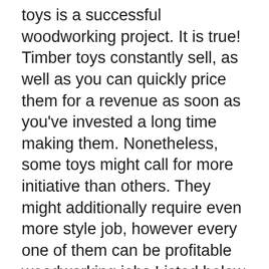toys is a successful woodworking project. It is true! Timber toys constantly sell, as well as you can quickly price them for a revenue as soon as you've invested a long time making them. Nonetheless, some toys might call for more initiative than others. They might additionally require even more style job, however every one of them can be profitable woodworking jobs Listed below are some concepts for wood playthings. Rewarding woodworking projects for newbies.
One of the easiest and also most prominent woodworking tasks is making rustic coat racks. These are fantastic for the vacations, and are fairly affordable to make. All you need is beefy timber, nails, and functioned